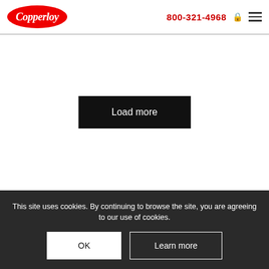Copperloy | 800-321-4968
Load more
CONTACT US
This site uses cookies. By continuing to browse the site, you are agreeing to our use of cookies.
OK
Learn more